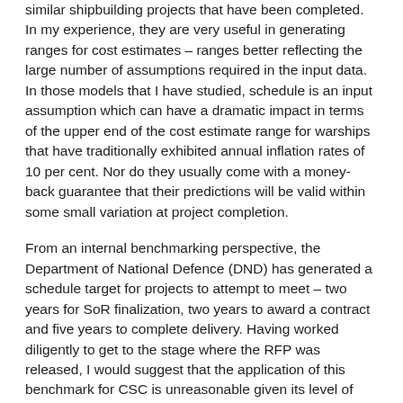similar shipbuilding projects that have been completed. In my experience, they are very useful in generating ranges for cost estimates – ranges better reflecting the large number of assumptions required in the input data. In those models that I have studied, schedule is an input assumption which can have a dramatic impact in terms of the upper end of the cost estimate range for warships that have traditionally exhibited annual inflation rates of 10 per cent. Nor do they usually come with a money-back guarantee that their predictions will be valid within some small variation at project completion.
From an internal benchmarking perspective, the Department of National Defence (DND) has generated a schedule target for projects to attempt to meet – two years for SoR finalization, two years to award a contract and five years to complete delivery. Having worked diligently to get to the stage where the RFP was released, I would suggest that the application of this benchmark for CSC is unreasonable given its level of complexity and appropriately enhanced degree of scrutiny. Having been involved in progressing seven army